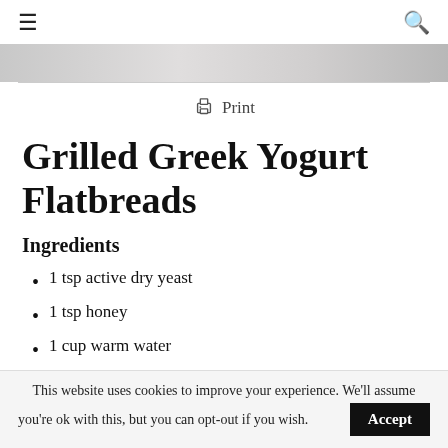≡  🔍
[Figure (photo): Hero image banner — gray/beige textured background photo of flatbreads]
🖨 Print
Grilled Greek Yogurt Flatbreads
Ingredients
1 tsp active dry yeast
1 tsp honey
1 cup warm water
1/2 cup plain greek yogurt
This website uses cookies to improve your experience. We'll assume you're ok with this, but you can opt-out if you wish.  Accept